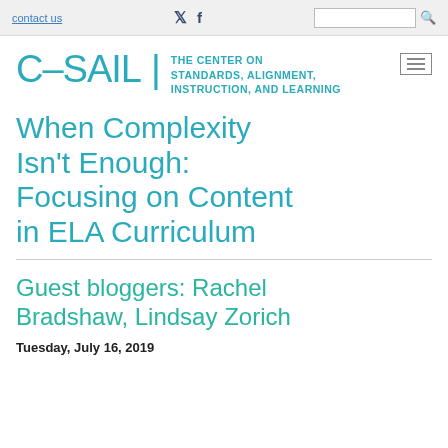contact us | Twitter | Facebook | [search]
[Figure (logo): C-SAIL logo with text: THE CENTER ON STANDARDS, ALIGNMENT, INSTRUCTION, AND LEARNING]
When Complexity Isn’t Enough: Focusing on Content in ELA Curriculum
Guest bloggers: Rachel Bradshaw, Lindsay Zorich
Tuesday, July 16, 2019